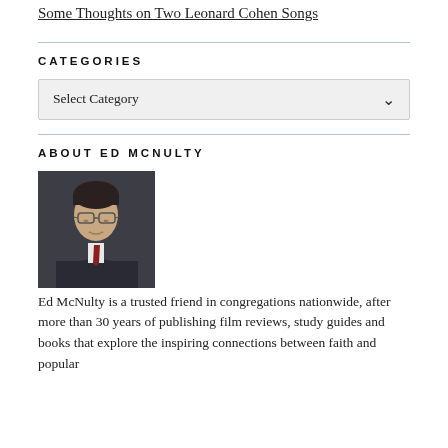Some Thoughts on Two Leonard Cohen Songs
CATEGORIES
Select Category
ABOUT ED MCNULTY
[Figure (photo): Portrait photo of Ed McNulty, a man wearing glasses and a suit with tie]
Ed McNulty is a trusted friend in congregations nationwide, after more than 30 years of publishing film reviews, study guides and books that explore the inspiring connections between faith and popular